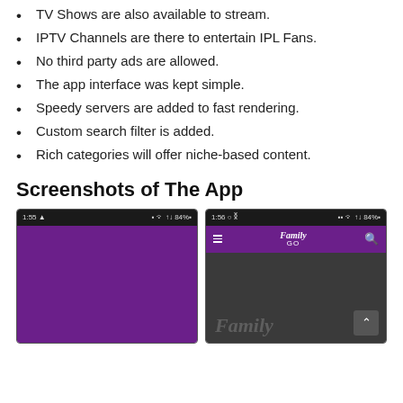TV Shows are also available to stream.
IPTV Channels are there to entertain IPL Fans.
No third party ads are allowed.
The app interface was kept simple.
Speedy servers are added to fast rendering.
Custom search filter is added.
Rich categories will offer niche-based content.
Screenshots of The App
[Figure (screenshot): Mobile app screenshot showing a purple loading/splash screen with a dark status bar at top showing time 1:55 and battery 84%.]
[Figure (screenshot): Mobile app screenshot showing the Discovery Family GO app with purple header bar showing hamburger menu, Family GO logo, and search icon. Below is a dark gray content area with a faint Family watermark and a scroll-up button.]